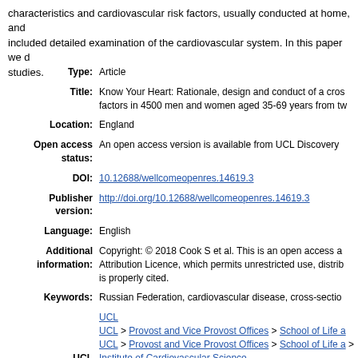characteristics and cardiovascular risk factors, usually conducted at home, and included detailed examination of the cardiovascular system. In this paper we d studies.
| Field | Value |
| --- | --- |
| Type: | Article |
| Title: | Know Your Heart: Rationale, design and conduct of a cross- factors in 4500 men and women aged 35-69 years from tw |
| Location: | England |
| Open access status: | An open access version is available from UCL Discovery |
| DOI: | 10.12688/wellcomeopenres.14619.3 |
| Publisher version: | http://doi.org/10.12688/wellcomeopenres.14619.3 |
| Language: | English |
| Additional information: | Copyright: © 2018 Cook S et al. This is an open access a Attribution Licence, which permits unrestricted use, distrib is properly cited. |
| Keywords: | Russian Federation, cardiovascular disease, cross-sectio |
| UCL classification: | UCL | UCL > Provost and Vice Provost Offices > School of Life a | UCL > Provost and Vice Provost Offices > School of Life a > Institute of Cardiovascular Science | UCL > Provost and Vice Provost Offices > School of Life a > Institute of Cardiovascular Science > Population Science | UCL > Provost and Vice Provost Offices > School of Life a > Institute of Cardiovascular Science > Population Science |